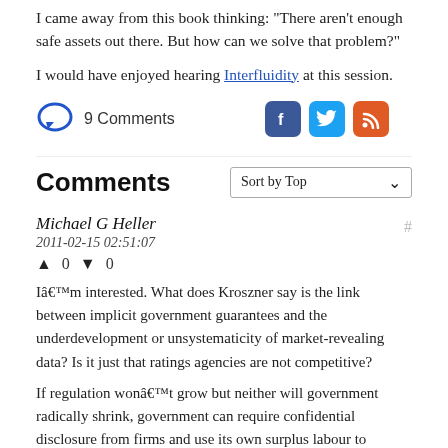I came away from this book thinking: "There aren't enough safe assets out there. But how can we solve that problem?"
I would have enjoyed hearing Interfluidity at this session.
9 Comments
Comments
Sort by Top
Michael G Heller
2011-02-15 02:51:07
▲ 0 ▼ 0
Iâ€™m interested. What does Kroszner say is the link between implicit government guarantees and the underdevelopment or unsystematicity of market-revealing data? Is it just that ratings agencies are not competitive?
If regulation wonâ€™t grow but neither will government radically shrink, government can require confidential disclosure from firms and use its own surplus labour to provide tax-funded